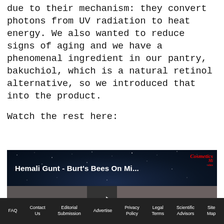due to their mechanism: they convert photons from UV radiation to heat energy. We also wanted to reduce signs of aging and we have a phenomenal ingredient in our pantry, bakuchiol, which is a natural retinol alternative, so we introduced that into the product.
Watch the rest here:
[Figure (screenshot): Video thumbnail showing two people with dark starry background, title 'Hemali Gunt - Burt's Bees On Mi...' and Cosmetics Mixies logo in top right corner, with a play button in the center.]
FAQ  Contact Us  Editorial Submission  Advertise  Privacy Policy  Legal Terms  Scientific Advisors  Site Map